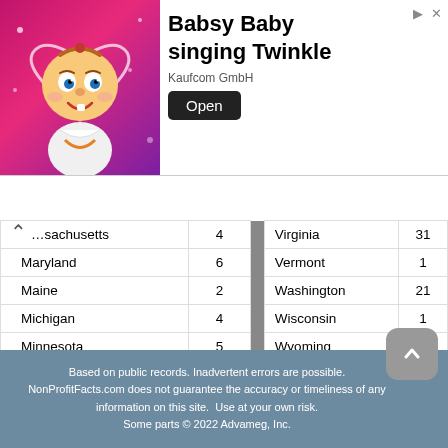[Figure (illustration): Ad banner: animated baby character with Babsy Baby singing Twinkle, Kaufcom GmbH, with Open button]
| State | Count |  | State | Count |
| --- | --- | --- | --- | --- |
| [Massachusetts] | 4 |  | Virginia | 31 |
| Maryland | 6 |  | Vermont | 1 |
| Maine | 2 |  | Washington | 21 |
| Michigan | 4 |  | Wisconsin | 1 |
| Minnesota | 5 |  | Wyoming | 7 |
| Mississippi | 8 |  |  |  |
| Total |  |  |  | 1,304 |
NonProfitFacts.com is not associated with, endorsed by, or sponsored by Big Laurel Church Of God Of Prophecy and has no official or unofficial affiliation with Big Laurel Church Of God Of Prophecy
Based on public records. Inadvertent errors are possible. NonProfitFacts.com does not guarantee the accuracy or timeliness of any information on this site. Use at your own risk. Some parts © 2022 Advameg, Inc.